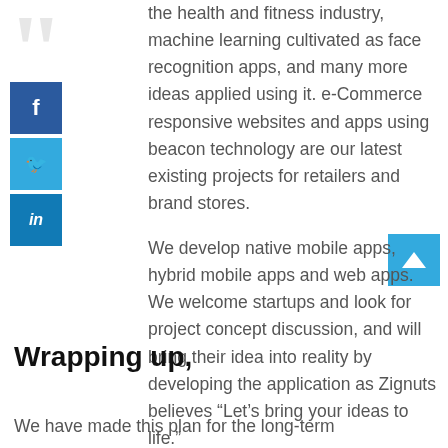the health and fitness industry, machine learning cultivated as face recognition apps, and many more ideas applied using it. e-Commerce responsive websites and apps using beacon technology are our latest existing projects for retailers and brand stores.
We develop native mobile apps, hybrid mobile apps and web apps. We welcome startups and look for project concept discussion, and will bring their idea into reality by developing the application as Zignuts believes “Let’s bring your ideas to life.”
Wrapping up,
We have made this plan for the long-term